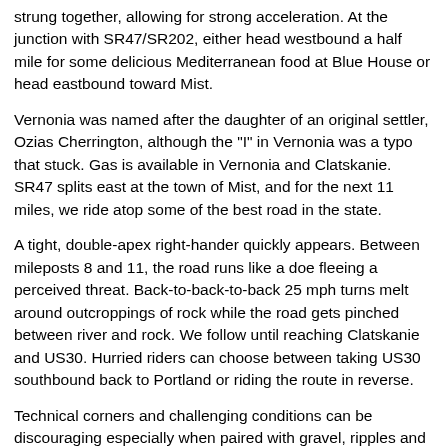strung together, allowing for strong acceleration. At the junction with SR47/SR202, either head westbound a half mile for some delicious Mediterranean food at Blue House or head eastbound toward Mist.
Vernonia was named after the daughter of an original settler, Ozias Cherrington, although the "I" in Vernonia was a typo that stuck. Gas is available in Vernonia and Clatskanie. SR47 splits east at the town of Mist, and for the next 11 miles, we ride atop some of the best road in the state.
A tight, double-apex right-hander quickly appears. Between mileposts 8 and 11, the road runs like a doe fleeing a perceived threat. Back-to-back-to-back 25 mph turns melt around outcroppings of rock while the road gets pinched between river and rock. We follow until reaching Clatskanie and US30. Hurried riders can choose between taking US30 southbound back to Portland or riding the route in reverse.
Technical corners and challenging conditions can be discouraging especially when paired with gravel, ripples and erosion. But when obstacles become the challenge, then even bitterness can taste sweet. The sweetest treats are often found on a road named after two towns going nowhere.